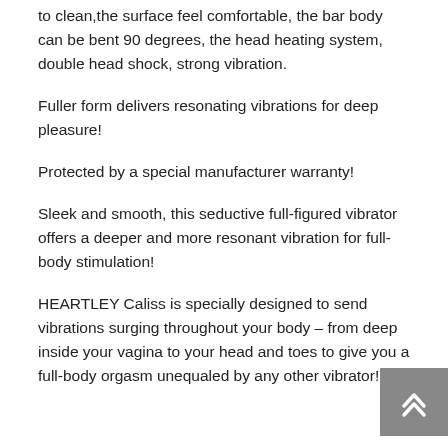to clean,the surface feel comfortable, the bar body can be bent 90 degrees, the head heating system, double head shock, strong vibration.
Fuller form delivers resonating vibrations for deep pleasure!
Protected by a special manufacturer warranty!
Sleek and smooth, this seductive full-figured vibrator offers a deeper and more resonant vibration for full-body stimulation!
HEARTLEY Caliss is specially designed to send vibrations surging throughout your body – from deep inside your vagina to your head and toes to give you a full-body orgasm unequaled by any other vibrator!